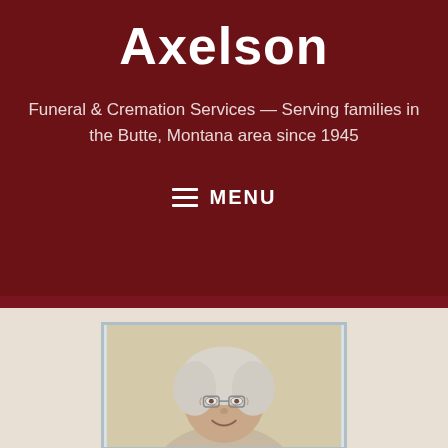Axelson
Funeral & Cremation Services — Serving families in the Butte, Montana area since 1945
≡ MENU
For Immediate Help Call 406-494-4264
[Figure (photo): Portrait photo of an elderly woman with white hair and glasses, smiling, against a beige background. Photo has a light blue-gray frame.]